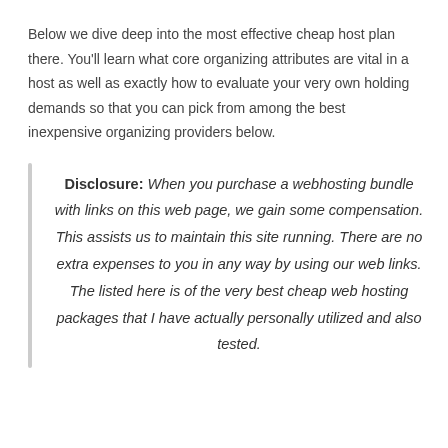Below we dive deep into the most effective cheap host plan there. You'll learn what core organizing attributes are vital in a host as well as exactly how to evaluate your very own holding demands so that you can pick from among the best inexpensive organizing providers below.
Disclosure: When you purchase a webhosting bundle with links on this web page, we gain some compensation. This assists us to maintain this site running. There are no extra expenses to you in any way by using our web links. The listed here is of the very best cheap web hosting packages that I have actually personally utilized and also tested.